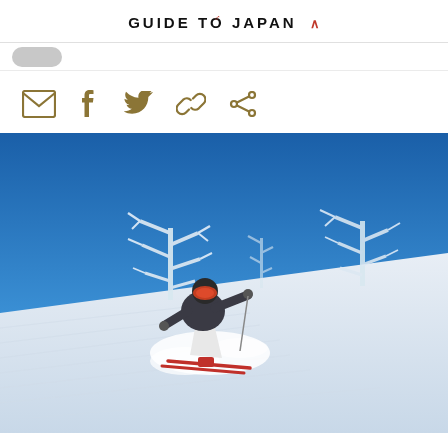GUIDE TO JAPAN ^
[Figure (photo): A skier in a dark jacket and white pants with orange goggles carves through packed powder snow on a mountain slope in Japan (Niseko). Snow-frosted trees are visible against a vivid blue sky in the background.]